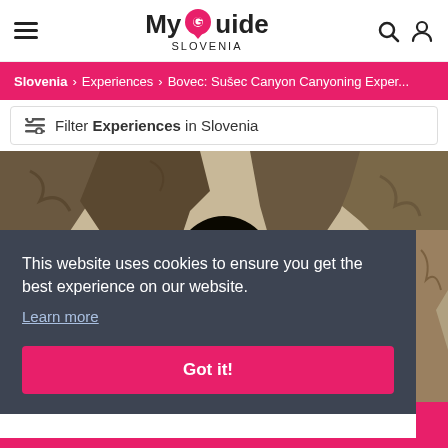My Guide SLOVENIA
Slovenia > Experiences > Bovec: Sušec Canyon Canyoning Exper...
Filter Experiences in Slovenia
[Figure (photo): Cave entrance with a person inside, rocky canyon walls, dark interior with orange light glow]
This website uses cookies to ensure you get the best experience on our website. Learn more
Got it!